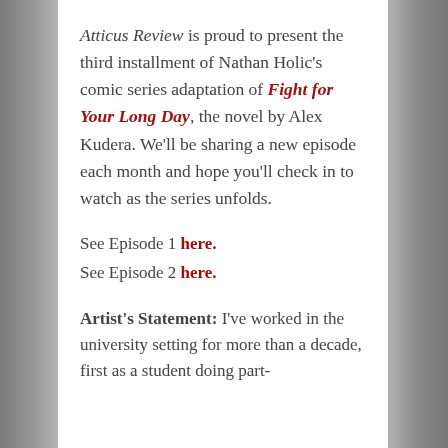Atticus Review is proud to present the third installment of Nathan Holic's comic series adaptation of Fight for Your Long Day, the novel by Alex Kudera. We'll be sharing a new episode each month and hope you'll check in to watch as the series unfolds.
See Episode 1 here. See Episode 2 here.
Artist's Statement: I've worked in the university setting for more than a decade, first as a student doing part-